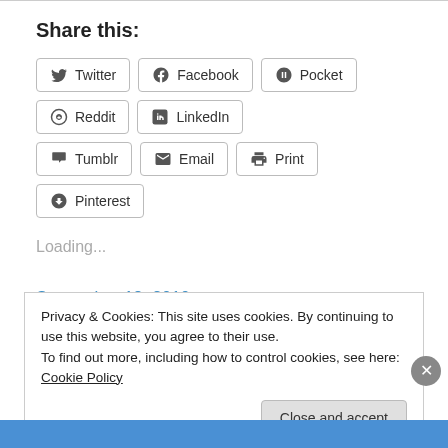Share this:
Twitter
Facebook
Pocket
Reddit
LinkedIn
Tumblr
Email
Print
Pinterest
Loading...
September 18, 2010
Privacy & Cookies: This site uses cookies. By continuing to use this website, you agree to their use. To find out more, including how to control cookies, see here: Cookie Policy
Close and accept